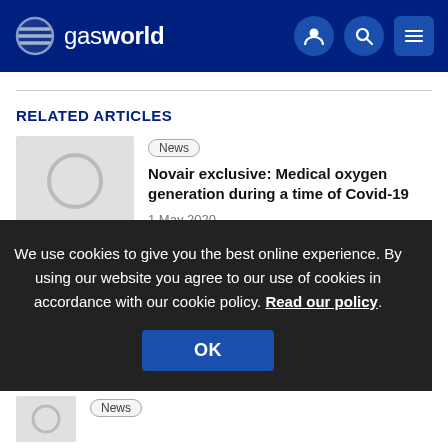gasworld
RELATED ARTICLES
[Figure (photo): Placeholder thumbnail image for article]
News
Novair exclusive: Medical oxygen generation during a time of Covid-19
1 May 2020
We use cookies to give you the best online experience. By using our website you agree to our use of cookies in accordance with our cookie policy. Read our policy.
OK
[Figure (photo): Placeholder thumbnail image for second article]
News